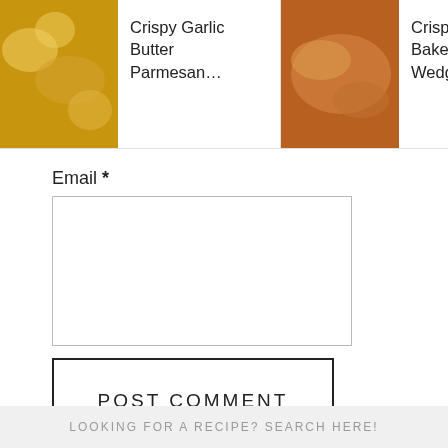[Figure (screenshot): Horizontal scrolling recipe card bar with food photos and titles: Crispy Garlic Butter Parmesan..., Crispy Garlic Baked Potato Wedges, Garlic [Cream?] Scalloped...]
Email *
[Figure (screenshot): Email input text box, empty]
[Figure (screenshot): POST COMMENT button]
111.3k
[Figure (screenshot): Heart/favorite floating button circle]
[Figure (screenshot): Search floating button dark red circle]
This site uses Akismet to reduce spam. Learn how your comment data is processed.
LOOKING FOR A RECIPE? SEARCH HERE!